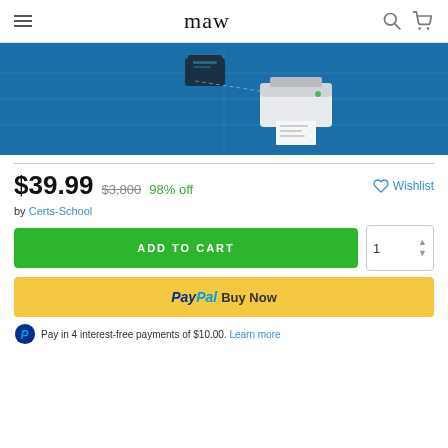maw
[Figure (illustration): Blue background product banner showing a printer device on isometric grid]
$39.99  $3,800  98% off   Wishlist
by Certs-School
ADD TO CART  1
PayPal Buy Now
PayPal Pay in 4 interest-free payments of $10.00. Learn more